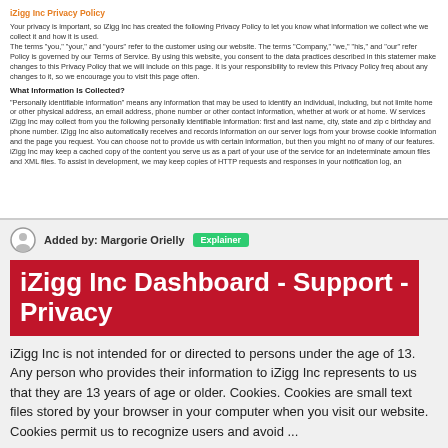iZigg Inc Privacy Policy
Your privacy is important, so iZigg Inc has created the following Privacy Policy to let you know what information we collect whe we collect it and how it is used. The terms "you," "your," and "yours" refer to the customer using our website. The terms "Company," "we," "his," and "our" refer Policy is governed by our Terms of Service. By using this website, you consent to the data practices described in this statemer make changes to this Privacy Policy that we will include on this page. It is your responsibility to review this Privacy Policy freq about any changes to it, so we encourage you to visit this page often.
What Information Is Collected?
"Personally identifiable information" means any information that may be used to identify an individual, including, but not limite home or other physical address, an email address, phone number or other contact information, whether at work or at home. W services iZigg Inc may collect from you the following personally identifiable information: first and last name, city, state and zip birthday and phone number. iZigg Inc also automatically receives and records information on our server logs from your browse cookie information and the page you request. You can choose not to provide us with certain information, but then you might not of many of our features. iZigg Inc may keep a cached copy of the content you serve us as a part of your use of the service for an indeterminate amour files and XML files. To assist in development, we may keep copies of HTTP requests and responses in your notification log, an
Added by: Margorie Orielly
Explainer
iZigg Inc Dashboard - Support - Privacy
iZigg Inc is not intended for or directed to persons under the age of 13. Any person who provides their information to iZigg Inc represents to us that they are 13 years of age or older. Cookies. Cookies are small text files stored by your browser in your computer when you visit our website. Cookies permit us to recognize users and avoid ...
Url: http://dashboard.izigg.com/support/privacy